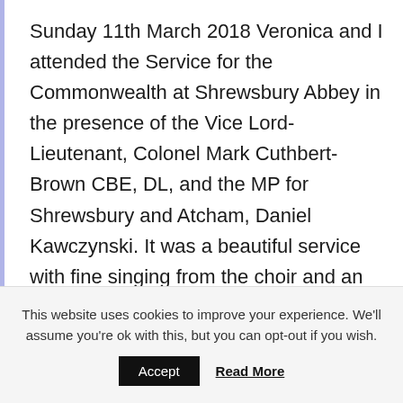Sunday 11th March 2018 Veronica and I attended the Service for the Commonwealth at Shrewsbury Abbey in the presence of the Vice Lord-Lieutenant, Colonel Mark Cuthbert-Brown CBE, DL, and the MP for Shrewsbury and Atcham, Daniel Kawczynski. It was a beautiful service with fine singing from the choir and an inspiring sermon preached by Bishop …
Read More »
This website uses cookies to improve your experience. We'll assume you're ok with this, but you can opt-out if you wish.
Accept   Read More